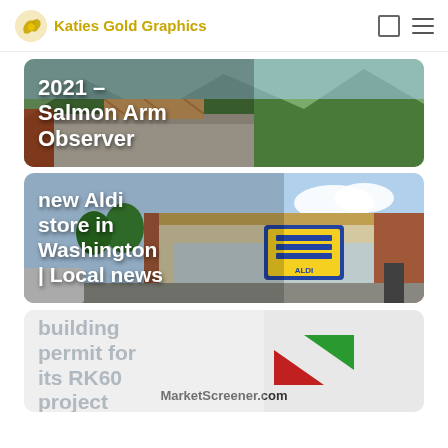Katies Gold Graphics
[Figure (photo): Construction site photo with partially built structure, trees and hills in background. Text overlay: 2021 – Salmon Arm Observer]
[Figure (photo): ALDI store exterior photo showing storefront with ALDI sign. Text overlay: new Aldi store in Washington | Local news]
[Figure (photo): MarketScreener.com logo/image. Text overlay: building permit for its RK60 project]